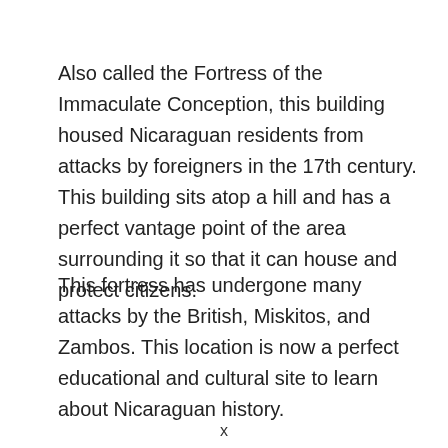Also called the Fortress of the Immaculate Conception, this building housed Nicaraguan residents from attacks by foreigners in the 17th century. This building sits atop a hill and has a perfect vantage point of the area surrounding it so that it can house and protect citizens.
This fortress has undergone many attacks by the British, Miskitos, and Zambos. This location is now a perfect educational and cultural site to learn about Nicaraguan history.
x